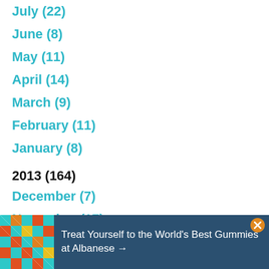July (22)
June (8)
May (11)
April (14)
March (9)
February (11)
January (8)
2013 (164)
December (7)
November (17)
October (19)
September (7)
August (36)
July (30)
[Figure (illustration): Advertisement banner: colorful gummy candy image on left, dark blue background with text 'Treat Yourself to the World's Best Gummies at Albanese →', close button top right]